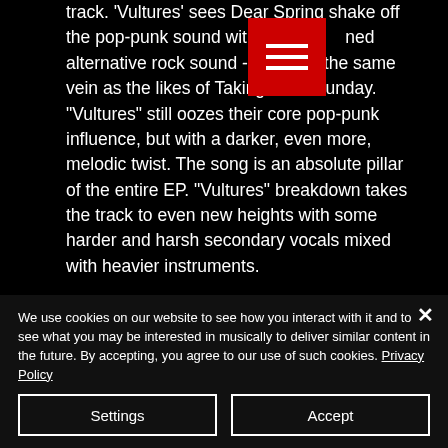track. 'Vultures' sees Dear Spring shake off the pop-punk sound with a more refined alternative rock sound -something in the same vein as the likes of Taking Back Sunday. "Vultures" still oozes their core pop-punk influence, but with a darker, even more, melodic twist. The song is an absolute pillar of the entire EP. "Vultures" breakdown takes the track to even new heights with some harder and harsh secondary vocals mixed with heavier instruments.
We use cookies on our website to see how you interact with it and to see what you may be interested in musically to deliver similar content in the future. By accepting, you agree to our use of such cookies. Privacy Policy